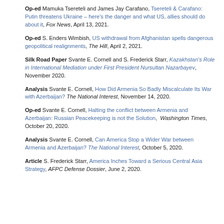Op-ed Mamuka Tsereteli and James Jay Carafano, Tsereteli & Carafano: Putin threatens Ukraine – here's the danger and what US, allies should do about it, Fox News, April 13, 2021.
Op-ed S. Enders Wimbish, US withdrawal from Afghanistan spells dangerous geopolitical realignments, The Hill, April 2, 2021.
Silk Road Paper Svante E. Cornell and S. Frederick Starr, Kazakhstan's Role in International Mediation under First President Nursultan Nazarbayev, November 2020.
Analysis Svante E. Cornell, How Did Armenia So Badly Miscalculate Its War with Azerbaijan? The National Interest, November 14, 2020.
Op-ed Svante E. Cornell, Halting the conflict between Armenia and Azerbaijan: Russian Peacekeeping is not the Solution, Washington Times, October 20, 2020.
Analysis Svante E. Cornell, Can America Stop a Wider War between Armenia and Azerbaijan? The National Interest, October 5, 2020.
Article S. Frederick Starr, America Inches Toward a Serious Central Asia Strategy, AFPC Defense Dossier, June 2, 2020.